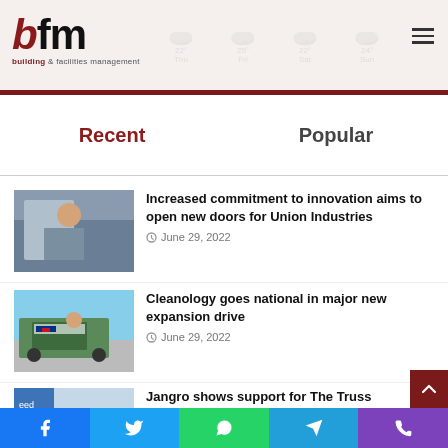bfm - building & facilities management
Recent
Popular
Increased commitment to innovation aims to open new doors for Union Industries
June 29, 2022
Cleanology goes national in major new expansion drive
June 29, 2022
Jangro shows support for The Truss...
Facebook Twitter WhatsApp Telegram Phone